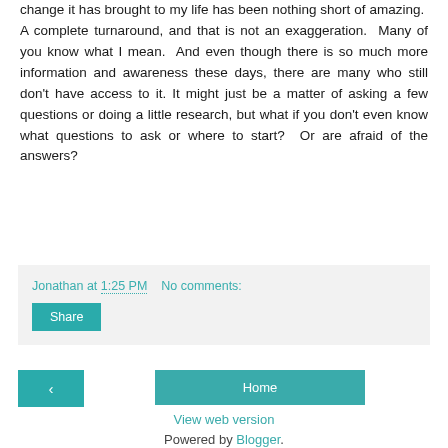change it has brought to my life has been nothing short of amazing. A complete turnaround, and that is not an exaggeration. Many of you know what I mean. And even though there is so much more information and awareness these days, there are many who still don't have access to it. It might just be a matter of asking a few questions or doing a little research, but what if you don't even know what questions to ask or where to start? Or are afraid of the answers?
Jonathan at 1:25 PM   No comments:
Share
<
Home
View web version
Powered by Blogger.